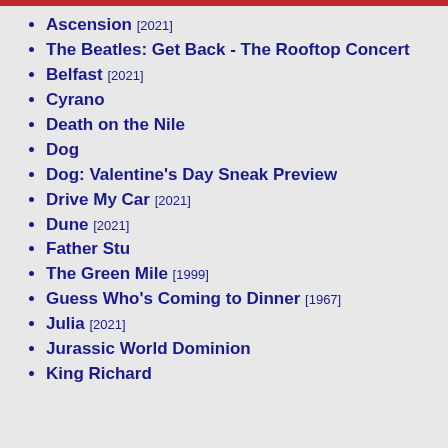Ascension [2021]
The Beatles: Get Back - The Rooftop Concert
Belfast [2021]
Cyrano
Death on the Nile
Dog
Dog: Valentine's Day Sneak Preview
Drive My Car [2021]
Dune [2021]
Father Stu
The Green Mile [1999]
Guess Who's Coming to Dinner [1967]
Julia [2021]
Jurassic World Dominion
King Richard